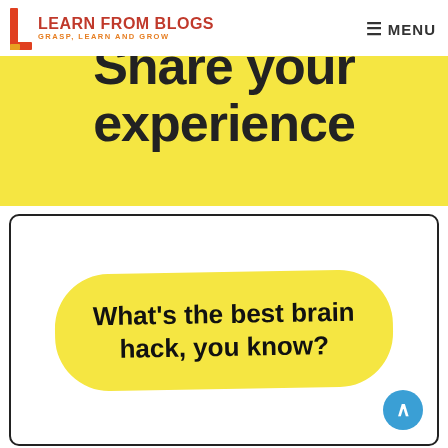LEARN FROM BLOGS — GRASP, LEARN AND GROW | MENU
[Figure (illustration): Yellow banner with large bold text partially cropped at top reading 'Share your experience' on a bright yellow background]
[Figure (illustration): White card with thick border containing a yellow highlight blob with bold text: 'What's the best brain hack, you know?' and a blue circular scroll-to-top arrow button in the bottom right]